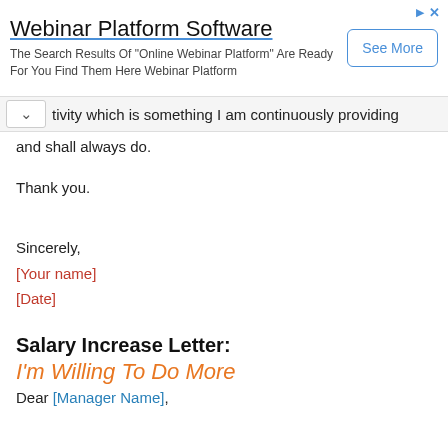[Figure (other): Advertisement banner for Webinar Platform Software with 'See More' button]
[partial] ...tivity which is something I am continuously providing and shall always do.
Thank you.
Sincerely,
[Your name]
[Date]
Salary Increase Letter:
I'm Willing To Do More
Dear [Manager Name],